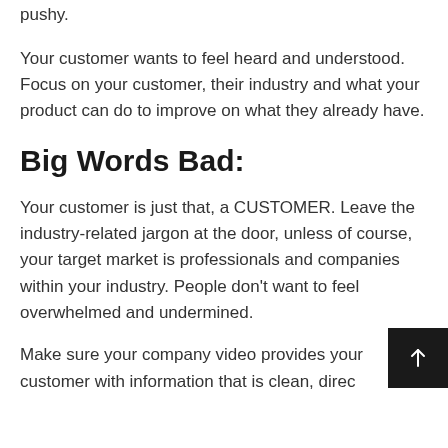pushy.
Your customer wants to feel heard and understood. Focus on your customer, their industry and what your product can do to improve on what they already have.
Big Words Bad:
Your customer is just that, a CUSTOMER. Leave the industry-related jargon at the door, unless of course, your target market is professionals and companies within your industry. People don't want to feel overwhelmed and undermined.
Make sure your company video provides your customer with information that is clean, direct